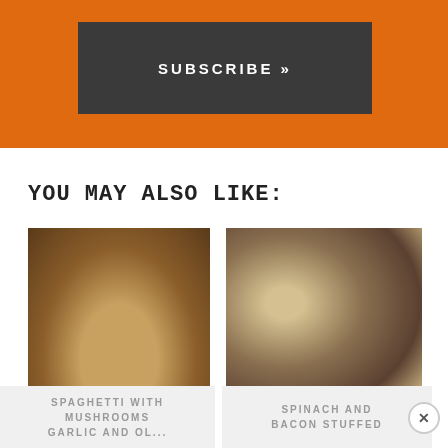SUBSCRIBE »
YOU MAY ALSO LIKE:
[Figure (photo): Plate of spaghetti with mushrooms and herbs including parsley and red pepper flakes]
[Figure (photo): White baking dish with spinach and bacon stuffed mushrooms topped with breadcrumbs and cheese]
SPAGHETTI WITH MUSHROOMS GARLIC AND OL...
SPINACH AND BACON STUFFED MUSHROOMS